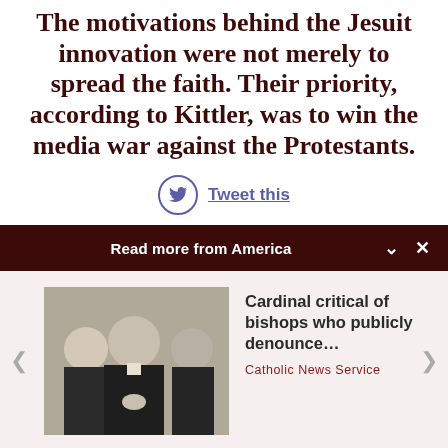The motivations behind the Jesuit innovation were not merely to spread the faith. Their priority, according to Kittler, was to win the media war against the Protestants.
Tweet this
Read more from America
[Figure (photo): Three men in black clerical attire, photographed in a formal setting]
Cardinal critical of bishops who publicly denounce…
Catholic News Service